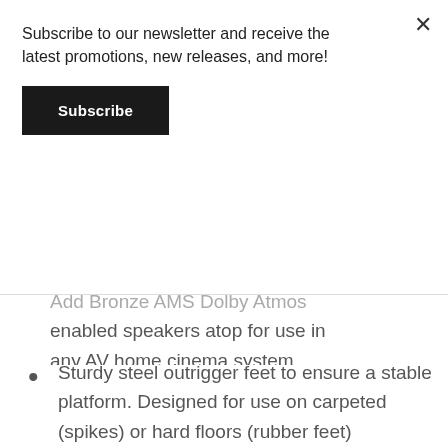Subscribe to our newsletter and receive the latest promotions, new releases, and more!
Subscribe
Add Bronze AMS Dolby Atmos enabled speakers atop for use in any AV home cinema system
Sturdy steel outrigger feet to ensure a stable platform. Designed for use on carpeted (spikes) or hard floors (rubber feet)
[Figure (photo): Product image showing a dark speaker stand/tower and a smaller cylindrical speaker component]